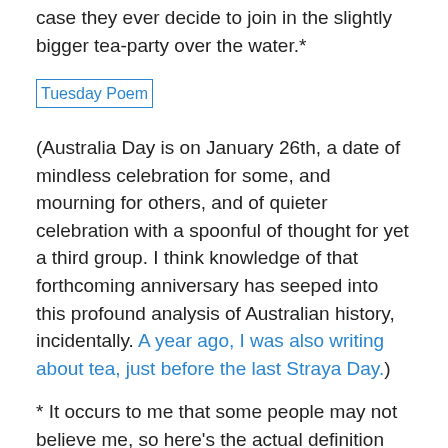case they ever decide to join in the slightly bigger tea-party over the water.*
[Figure (other): Tuesday Poem image link/badge]
(Australia Day is on January 26th, a date of mindless celebration for some, and mourning for others, and of quieter celebration with a spoonful of thought for yet a third group. I think knowledge of that forthcoming anniversary has seeped into this profound analysis of Australian history, incidentally. A year ago, I was also writing about tea, just before the last Straya Day.)
* It occurs to me that some people may not believe me, so here's the actual definition section from the Constitution:
COMMONWEALTH OF AUSTRALIA CONSTITUTION ACT – CLAUSE 6